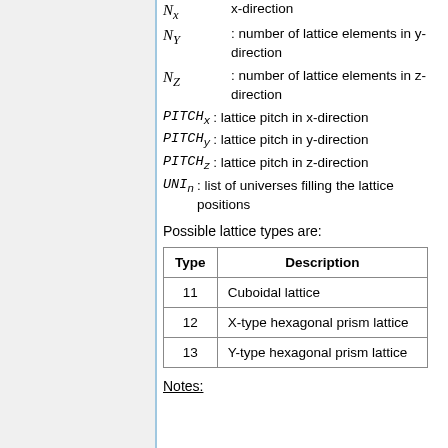Nx : number of lattice elements in x-direction
NY : number of lattice elements in y-direction
NZ : number of lattice elements in z-direction
PITCHx : lattice pitch in x-direction
PITCHy : lattice pitch in y-direction
PITCHz : lattice pitch in z-direction
UNIn : list of universes filling the lattice positions
Possible lattice types are:
| Type | Description |
| --- | --- |
| 11 | Cuboidal lattice |
| 12 | X-type hexagonal prism lattice |
| 13 | Y-type hexagonal prism lattice |
Notes: